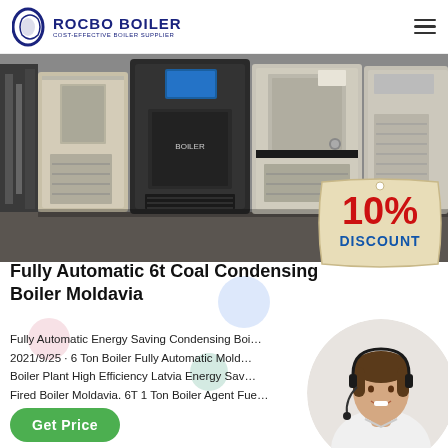[Figure (logo): Rocbo Boiler logo with circular icon and text 'ROCBO BOILER / COST-EFFECTIVE BOILER SUPPLIER']
[Figure (photo): Industrial condensing boilers in a factory setting — multiple large black and beige/silver boiler units]
[Figure (infographic): 10% DISCOUNT badge in red and blue on a tan/beige tag shape]
Fully Automatic 6t Coal Condensing Boiler Moldavia
Fully Automatic Energy Saving Condensing Boiler … 2021/9/25 · 6 Ton Boiler Fully Automatic Moldavia … Boiler Plant High Efficiency Latvia Energy Saving … Fired Boiler Moldavia. 6T 1 Ton Boiler Agent Fue…
[Figure (photo): Customer service representative woman with headset, smiling]
Get Price